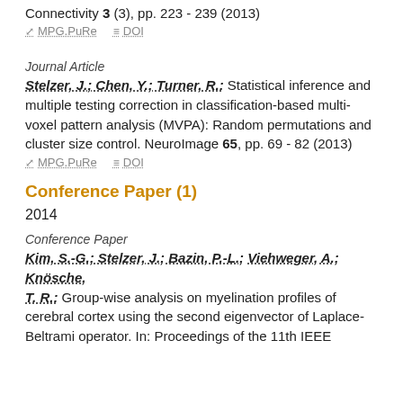Connectivity 3 (3), pp. 223 - 239 (2013)
MPG.PuRe   DOI
Journal Article
Stelzer, J.; Chen, Y.; Turner, R.: Statistical inference and multiple testing correction in classification-based multi-voxel pattern analysis (MVPA): Random permutations and cluster size control. NeuroImage 65, pp. 69 - 82 (2013)
MPG.PuRe   DOI
Conference Paper (1)
2014
Conference Paper
Kim, S.-G.; Stelzer, J.; Bazin, P.-L.; Viehweger, A.; Knösche, T. R.: Group-wise analysis on myelination profiles of cerebral cortex using the second eigenvector of Laplace-Beltrami operator. In: Proceedings of the 11th IEEE